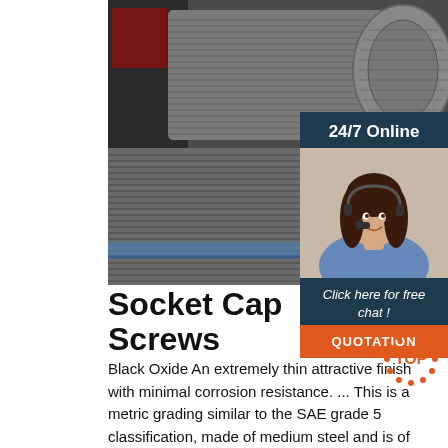[Figure (photo): Large coils of wire/steel rod spools stacked in a warehouse or manufacturing setting, gray metallic wire wound tightly on spools]
24/7 Online
[Figure (photo): Customer service representative, a woman with headset, smiling, wearing blue shirt]
Click here for free chat !
QUOTATION
Socket Cap Screws
Black Oxide An extremely thin attractive finish with minimal corrosion resistance. ... This is a metric grading similar to the SAE grade 5 classification, made of medium steel and is of medium strength on the grade scale. ... Socket Cap Screw Socket cap screws are commonly used in machine parts
[Figure (illustration): TOP badge/button circular icon with orange dots border and orange TOP text]